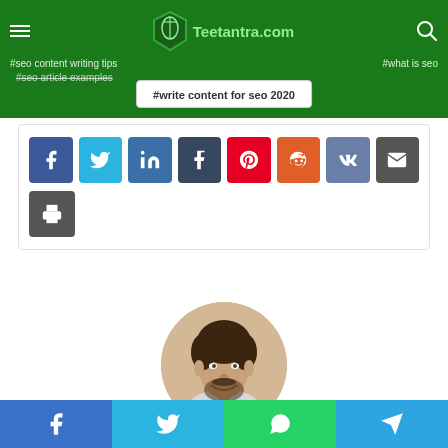Teetantra.com — navigation header with logo, hamburger menu, search icon, hashtag navigation tags and tag pill #write content for seo 2020
[Figure (screenshot): Social share buttons row: Facebook (blue), Twitter (light blue), LinkedIn (dark blue), Tumblr (dark), Pinterest (red), Reddit (orange), VK (slate blue), Email (dark gray), Print (dark gray)]
[Figure (photo): Circular avatar photo of a smiling young man with curly dark hair and beard, wearing a light gray top]
Lewis
Bottom social share bar: Facebook, Twitter, WhatsApp, Telegram